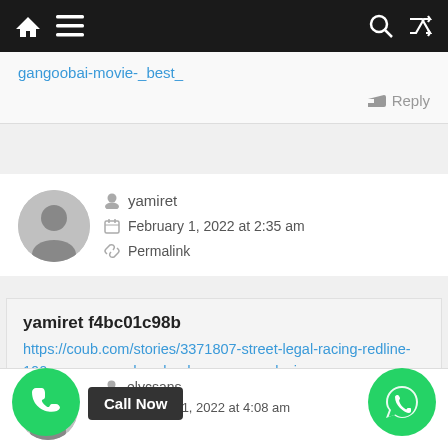Navigation bar with home, menu, search, and shuffle icons
gangoobai-movie-_best_
Reply
yamiret
February 1, 2022 at 2:35 am
Permalink
yamiret f4bc01c98b
https://coub.com/stories/3371807-street-legal-racing-redline-100-save-game-download-mega-__exclusive__
Reply
elycsans
February 1, 2022 at 4:08 am
Call Now